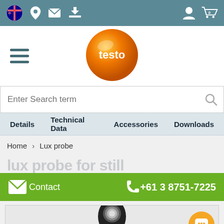Testo Australia website header with navigation icons, account and cart (0)
[Figure (logo): Testo orange sphere logo with white text 'testo']
Enter Search term
Details   Technical Data   Accessories   Downloads
Home > Lux probe
[Figure (photo): Lux probe product image, partially visible at bottom]
Contact   +61 3 8751-7225